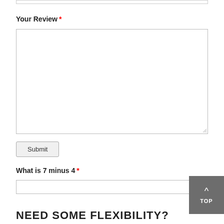Your Review *
Submit
What is 7 minus 4 *
NEED SOME FLEXIBILITY?